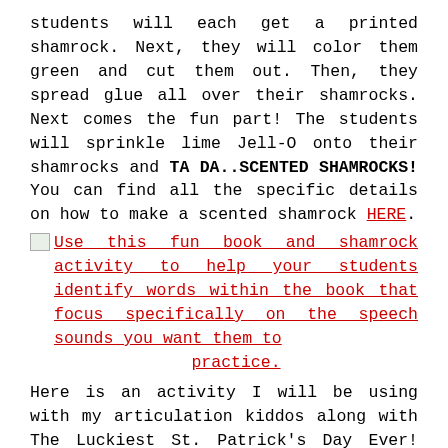students will each get a printed shamrock.  Next, they will color them green and cut them out.  Then, they spread glue all over their shamrocks.  Next comes the fun part!  The students will sprinkle lime Jell-O onto their shamrocks and TA DA..SCENTED SHAMROCKS!  You can find all the specific details on how to make a scented shamrock HERE.
Use this fun book and shamrock activity to help your students identify words within the book that focus specifically on the speech sounds you want them to practice.
Here is an activity I will be using with my articulation kiddos along with The Luckiest St. Patrick's Day Ever!  First, we will read the book as a group.  Next, each student will get a sheet of blank shamrocks.  My groups will work together going through the book and looking for words or phrases with their speech sounds to write on their shamrocks.  Finally, the students will color and